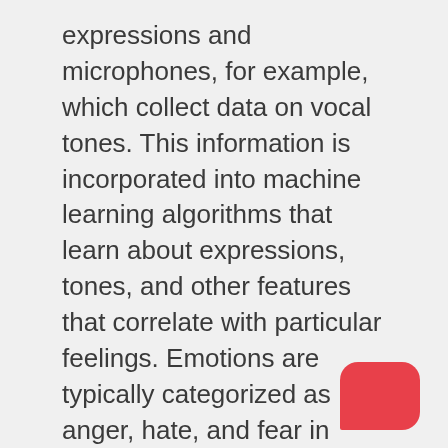expressions and microphones, for example, which collect data on vocal tones. This information is incorporated into machine learning algorithms that learn about expressions, tones, and other features that correlate with particular feelings. Emotions are typically categorized as anger, hate, and fear in today's technology of recognition.
Why does it matter?
Emotion analytics solutions enhance efficiency for small and medium-sized enterprises, optimize customer satisfaction and improve workforce management. A website such as Twitter and Facebook can be used by small business owners to